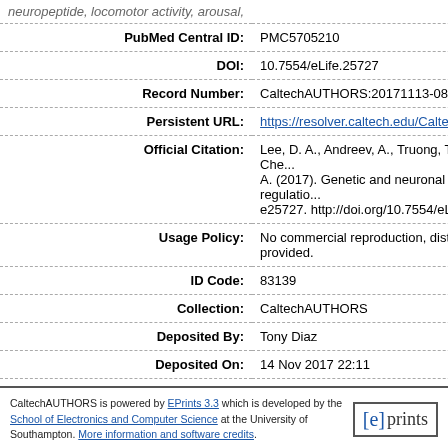| Field | Value |
| --- | --- |
| PubMed Central ID: | PMC5705210 |
| DOI: | 10.7554/eLife.25727 |
| Record Number: | CaltechAUTHORS:20171113-083059260 |
| Persistent URL: | https://resolver.caltech.edu/CaltechAUTHO... |
| Official Citation: | Lee, D. A., Andreev, A., Truong, T. V., Che... A. (2017). Genetic and neuronal regulation... e25727. http://doi.org/10.7554/eLife.25727 |
| Usage Policy: | No commercial reproduction, distribution, provided. |
| ID Code: | 83139 |
| Collection: | CaltechAUTHORS |
| Deposited By: | Tony Diaz |
| Deposited On: | 14 Nov 2017 22:11 |
| Last Modified: | 15 Nov 2021 19:55 |
CaltechAUTHORS is powered by EPrints 3.3 which is developed by the School of Electronics and Computer Science at the University of Southampton. More information and software credits.